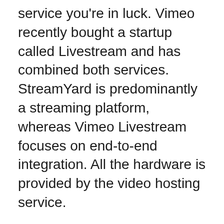service you're in luck. Vimeo recently bought a startup called Livestream and has combined both services. StreamYard is predominantly a streaming platform, whereas Vimeo Livestream focuses on end-to-end integration. All the hardware is provided by the video hosting service.
StreamYard offers a trial period for free and allows you to stream up to 10 videos simultaneously. StreamYard also allows multi-streaming, which includes nine destinations channels, however, it doesn't have support for on-demand videos. StreamYard also comes with limited editing and broadcast management features, and it only supports live streaming. It lacks advanced analytics and scheduling capabilities. As the continue